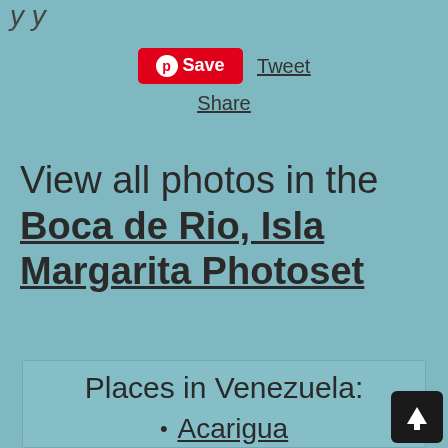y y
Save  Tweet
Share
View all photos in the Boca de Rio, Isla Margarita Photoset
Places in Venezuela:
Acarigua
Adicora & Punto Fijo
Barinas
Barinas to Apartaderos